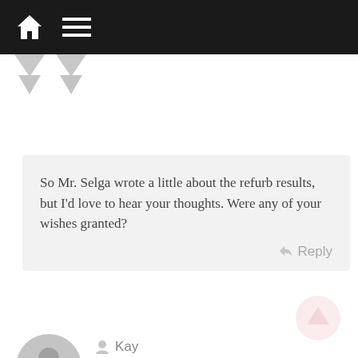Navigation bar with home and menu icons
So Mr. Selga wrote a little about the refurb results, but I’d love to hear your thoughts. Were any of your wishes granted?
Kay
January 9, 2014 at 3:07 pm
Well, I’ve found ONE thing they did during the refurb: there are now crazy projections on Mara’s face in the Chamber of Riches/Future/Youth/whatever. Each one has a different reaction to you “looking in it’s eyes” (Riches: starts bleeding from it’s supposed pores, Youth: the face cracks, haven’t seen the Future